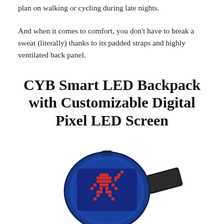plan on walking or cycling during late nights.
And when it comes to comfort, you don't have to break a sweat (literally) thanks to its padded straps and highly ventilated back panel.
CYB Smart LED Backpack with Customizable Digital Pixel LED Screen
[Figure (photo): A blue CYB Smart LED Backpack with a customizable digital pixel LED screen showing a red pixelated graphic, displayed next to a smartphone.]